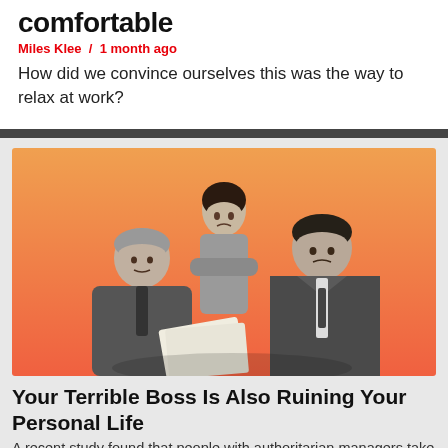comfortable
Miles Klee  /  1 month ago
How did we convince ourselves this was the way to relax at work?
[Figure (photo): Black and white vintage photo of three people (two men and a woman) in a workplace setting, against an orange-to-coral gradient background. An older man and a younger man are looking at papers, while a woman stands behind them with arms crossed looking serious.]
Your Terrible Boss Is Also Ruining Your Personal Life
A recent study found that people with authoritarian managers take their work stress home with them, significantly